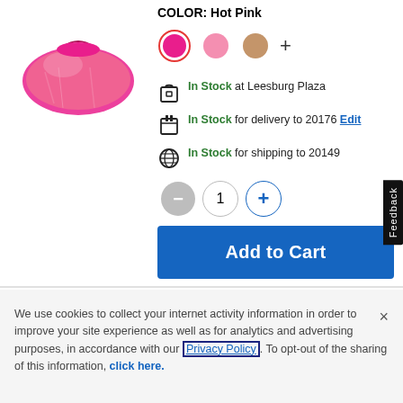[Figure (photo): Hot pink metallic drawstring bag/pouch, partially visible on left side]
COLOR: Hot Pink
[Figure (other): Color swatches: hot pink (selected with red ring), light pink, peach/nude, plus sign for more colors]
In Stock at Leesburg Plaza
In Stock for delivery to 20176 Edit
In Stock for shipping to 20149
[Figure (other): Quantity selector with minus button (gray), 1, plus button (blue circle)]
Add to Cart
We use cookies to collect your internet activity information in order to improve your site experience as well as for analytics and advertising purposes, in accordance with our Privacy Policy. To opt-out of the sharing of this information, click here.